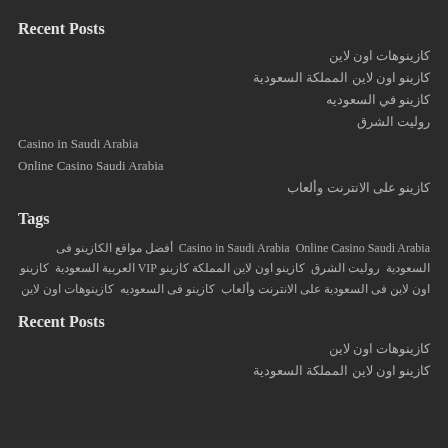Recent Posts
كازينوهات اون لاين
كازينو اون لاين المملكة السعودية
كازينو في السعوديه
روليت الشرق
Casino in Saudi Arabia
Online Casino Saudi Arabia
كازينو على الانترنت وألعاب
Tags
Casino in Saudi Arabia Online Casino Saudi Arabia أفضل مواقع الكازينو فى السعودية روليت الشرق كازينو اون لاين المملكة كازينو VIP العربية السعودية كازينو اون لاين فى السعودية على الانترنت وألعاب كازينو فى السعوديه كازينوهات اون لاين
Recent Posts
كازينوهات اون لاين
كازينو اون لاين المملكة السعودية